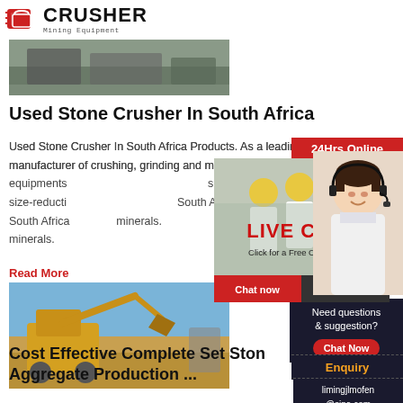CRUSHER Mining Equipment
[Figure (photo): Mining/crusher machinery equipment photo at top]
Used Stone Crusher In South Africa
Used Stone Crusher In South Africa Products. As a leading global manufacturer of crushing, grinding and mining equipments, we offer advanced, reasonable solutions for any size-reduction requirements including, Used Stone Crusher In South Africa, quarry, aggregate, and different kinds of minerals.
Read More
[Figure (photo): Excavator and stone crusher at work site]
Cost Effective Complete Set Ston Aggregate Production ...
[Figure (infographic): Live Chat popup overlay with workers photo, LIVE CHAT text, Chat now and Chat later buttons]
[Figure (photo): Customer service person with headset on right side]
24Hrs Online
Need questions & suggestion?
Chat Now
Enquiry
limingjlmofen@sina.com